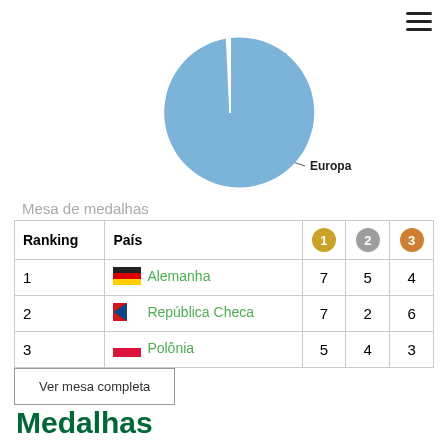[Figure (pie-chart): Participação por continente]
Mesa de medalhas
| Ranking | País | 1 | 2 | 3 |
| --- | --- | --- | --- | --- |
| 1 | Alemanha | 7 | 5 | 4 |
| 2 | República Checa | 7 | 2 | 6 |
| 3 | Polônia | 5 | 4 | 3 |
Ver mesa completa
Medalhas